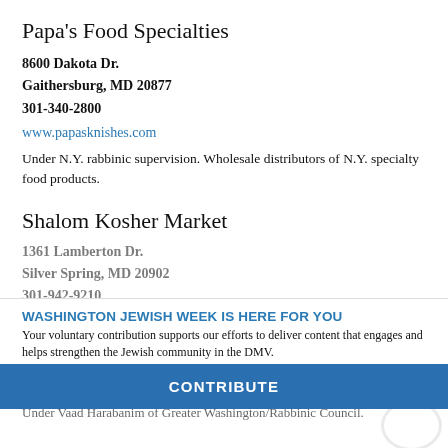Papa's Food Specialties
8600 Dakota Dr.
Gaithersburg, MD 20877
301-340-2800
www.papasknishes.com
Under N.Y. rabbinic supervision. Wholesale distributors of N.Y. specialty food products.
Shalom Kosher Market
1361 Lamberton Dr.
Silver Spring, MD 20902
301-942-9210
Fax: 301-946-1041
WASHINGTON JEWISH WEEK IS HERE FOR YOU
Your voluntary contribution supports our efforts to deliver content that engages and helps strengthen the Jewish community in the DMV.
CONTRIBUTE
Under Vaad Harabanim of Greater Washington/Rabbinic Council.